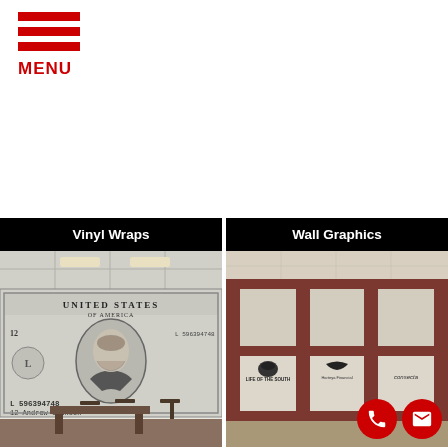MENU
[Figure (photo): Vinyl Wraps category tile with black and white US dollar bill mural on a wall in a cafeteria setting]
[Figure (photo): Wall Graphics category tile showing frosted glass panels with company logos including Life of the South, Harteys Financial, and Consecta]